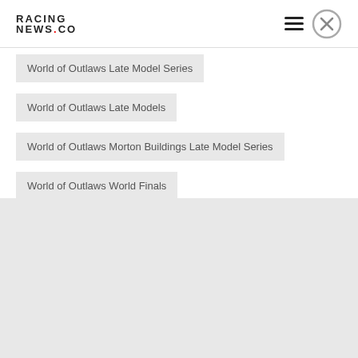RACING NEWS.CO
World of Outlaws Late Model Series
World of Outlaws Late Models
World of Outlaws Morton Buildings Late Model Series
World of Outlaws World Finals